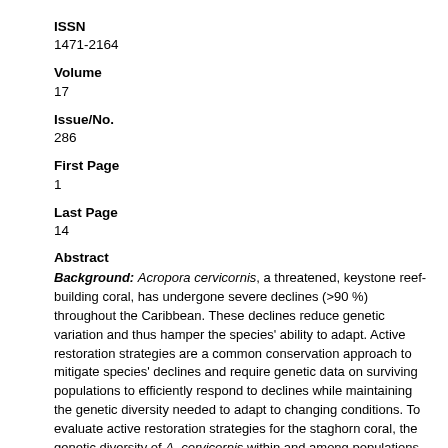ISSN
1471-2164
Volume
17
Issue/No.
286
First Page
1
Last Page
14
Abstract
Background: Acropora cervicornis, a threatened, keystone reef-building coral, has undergone severe declines (>90 %) throughout the Caribbean. These declines reduce genetic variation and thus hamper the species' ability to adapt. Active restoration strategies are a common conservation approach to mitigate species' declines and require genetic data on surviving populations to efficiently respond to declines while maintaining the genetic diversity needed to adapt to changing conditions. To evaluate active restoration strategies for the staghorn coral, the genetic diversity of A. cervicornis within and among populations was assessed in 77 individuals collected from 6 sites along the Florida Reef Tract (FRT) and in the Dominican Republic.
Results: Genotyping by Sequencing (GBS) identified 4,764 single nucleotide polymorphisms (SNPs). Pairwise nucleotide differences (π) within a population (~37 %) and similar to π across all individuals. This high level of genetic diversity...